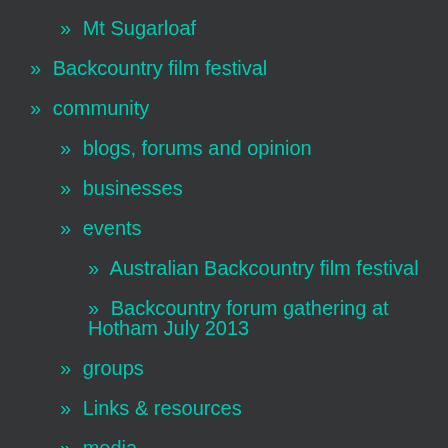» Mt Sugarloaf
» Backcountry film festival
» community
» blogs, forums and opinion
» businesses
» events
» Australian Backcountry film festival
» Backcountry forum gathering at Hotham July 2013
» groups
» Links & resources
» media
» Mountain towns
» Mansfield
» soapbox